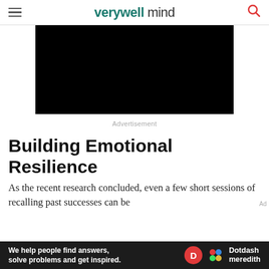verywell mind
[Figure (other): Black video player rectangle embedded in article]
Advertisement
Building Emotional Resilience
As the recent research concluded, even a few short sessions of recalling past successes can be
[Figure (other): Dotdash Meredith bottom advertisement banner — dark background with text: We help people find answers, solve problems and get inspired.]